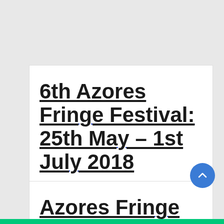6th Azores Fringe Festival: 25th May – 1st July 2018
Azores Fringe Festival: from the